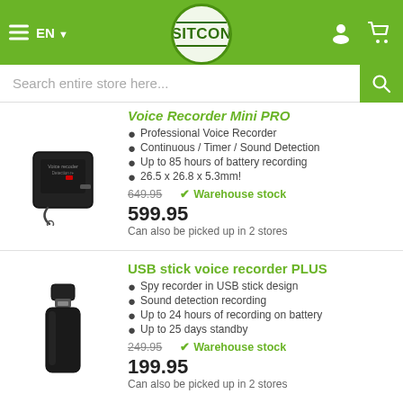SITCON — EN — hamburger menu — user icon — cart icon
Search entire store here...
Voice Recorder Mini PRO
Professional Voice Recorder
Continuous / Timer / Sound Detection
Up to 85 hours of battery recording
26.5 x 26.8 x 5.3mm!
649.95  ✓ Warehouse stock
599.95
Can also be picked up in 2 stores
USB stick voice recorder PLUS
Spy recorder in USB stick design
Sound detection recording
Up to 24 hours of recording on battery
Up to 25 days standby
249.95  ✓ Warehouse stock
199.95
Can also be picked up in 2 stores